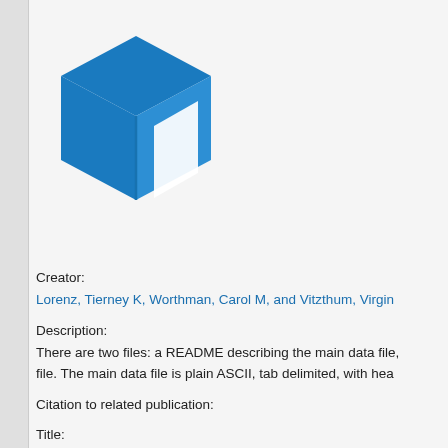[Figure (logo): Blue 3D cube icon, the logo for a data repository platform]
Creator:
Lorenz, Tierney K, Worthman, Carol M, and Vitzthum, Virgin
Description:
There are two files: a README describing the main data file, file. The main data file is plain ASCII, tab delimited, with hea
Citation to related publication:
Title: